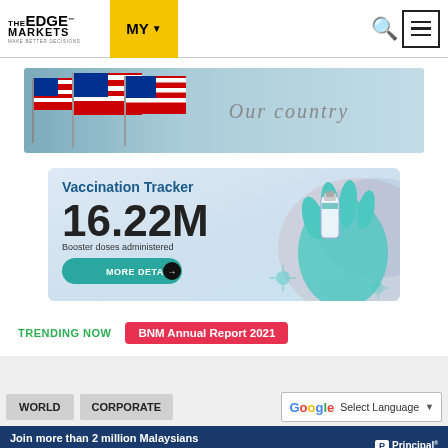THE EDGE MARKETS — MY — navigation bar with search and menu
[Figure (illustration): Banner with Malaysian flags and text 'Our country' on a blue-teal background]
[Figure (infographic): Vaccination Tracker banner showing 16.22M booster doses administered with MORE DETAILS button and illustration of gloved hand holding vaccine vial]
TRENDING NOW   BNM Annual Report 2021
[Figure (screenshot): Navigation tabs: WORLD, CORPORATE, and Google Translate Select Language widget]
[Figure (illustration): Advertisement banner: Join more than 2 million Malaysians who chose Principal for investing. Principal logo.]